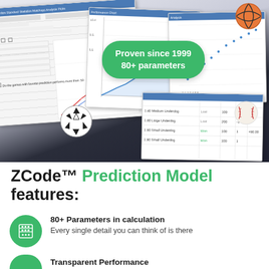[Figure (screenshot): Sports analytics software screenshots showing charts, graphs, and data tables with soccer ball, basketball, and baseball sport icons. Green badge overlay reads 'Proven since 1999 / 80+ parameters'.]
ZCode™ Prediction Model features:
80+ Parameters in calculation — Every single detail you can think of is there
Transparent Performance